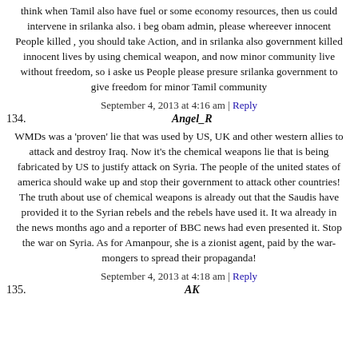think when Tamil also have fuel or some economy resources, then us could intervene in srilanka also. i beg obam admin, please whereever innocent People killed , you should take Action, and in srilanka also government killed innocent lives by using chemical weapon, and now minor community live without freedom, so i aske us People please presure srilanka government to give freedom for minor Tamil community
September 4, 2013 at 4:16 am | Reply
134.   Angel_R
WMDs was a 'proven' lie that was used by US, UK and other western allies to attack and destroy Iraq. Now it's the chemical weapons lie that is being fabricated by US to justify attack on Syria. The people of the united states of america should wake up and stop their government to attack other countries! The truth about use of chemical weapons is already out that the Saudis have provided it to the Syrian rebels and the rebels have used it. It wa already in the news months ago and a reporter of BBC news had even presented it. Stop the war on Syria. As for Amanpour, she is a zionist agent, paid by the war-mongers to spread their propaganda!
September 4, 2013 at 4:18 am | Reply
135.   AK